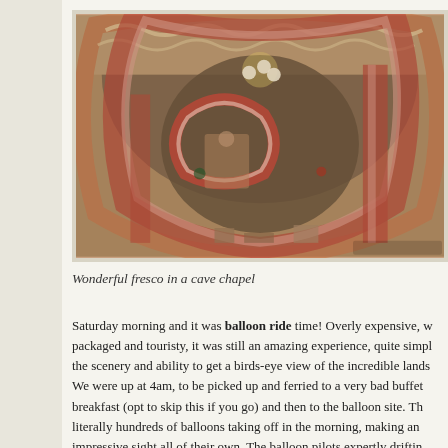[Figure (photo): Interior of a cave chapel with ornate Byzantine-style frescoes, painted arches in terracotta red and cream tones, intricate decorative borders with wave/spiral patterns, and religious imagery visible on the curved walls. Ceiling lights illuminate the underground stone space.]
Wonderful fresco in a cave chapel
Saturday morning and it was balloon ride time! Overly expensive, well packaged and touristy, it was still an amazing experience, quite simply the scenery and ability to get a birds-eye view of the incredible lands. We were up at 4am, to be picked up and ferried to a very bad buffet breakfast (opt to skip this if you go) and then to the balloon site. There literally hundreds of balloons taking off in the morning, making an impressive sight all of their own. The balloon pilots expertly drifting